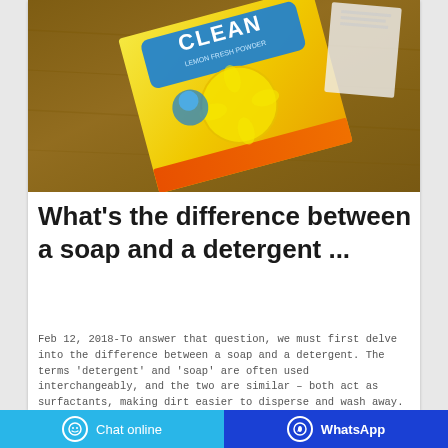[Figure (photo): A yellow packet of Clean lemon-scented detergent powder lying on a wooden surface]
What's the difference between a soap and a detergent ...
Feb 12, 2018-To answer that question, we must first delve into the difference between a soap and a detergent. The terms 'detergent' and 'soap' are often used interchangeably, and the two are similar – both act as surfactants, making dirt easier to disperse and wash away. Each has slightly different chemistry [1, 2, 4]:
Chat online | WhatsApp